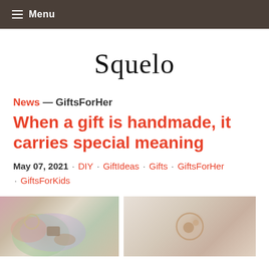Menu
Squelo
News — GiftsForHer
When a gift is handmade, it carries special meaning
May 07, 2021 · DIY · GiftIdeas · Gifts · GiftsForHer · GiftsForKids
[Figure (photo): Two side-by-side photos showing handmade jewelry gifts including rings and decorative dishes on colorful and neutral backgrounds]